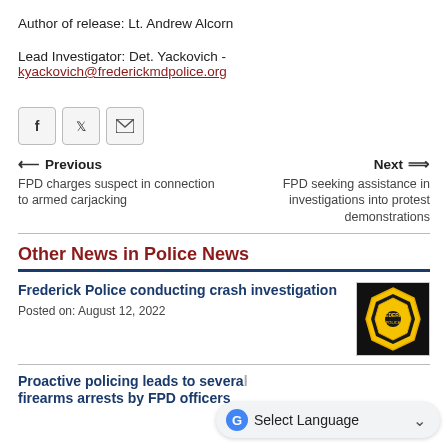Author of release: Lt. Andrew Alcorn
Lead Investigator: Det. Yackovich - kyackovich@frederickmdpolice.org
[Figure (other): Social share buttons: Facebook, Twitter, Email]
Previous — FPD charges suspect in connection to armed carjacking
Next — FPD seeking assistance in investigations into protest demonstrations
Other News in Police News
Frederick Police conducting crash investigation
Posted on: August 12, 2022
[Figure (logo): Frederick Police badge logo — black background with yellow badge and police shield]
Proactive policing leads to several firearms arrests by FPD officers